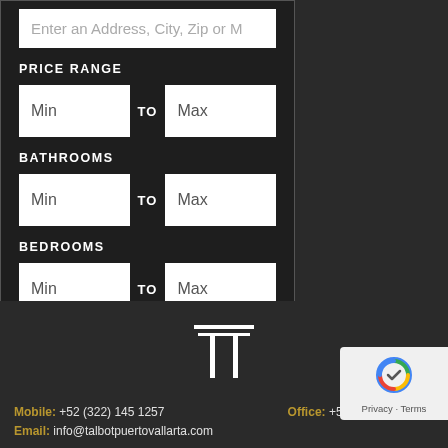Enter an Address, City, Zip or M
PRICE RANGE
Min TO Max
BATHROOMS
Min TO Max
BEDROOMS
Min TO Max
Search ▶
[Figure (logo): Talbot Puerto Vallarta logo — stylized T mark with double vertical lines]
Mobile: +52 (322) 145 1257   Office: +52 (322) 223 3770
Email: info@talbotpuertovallarta.com